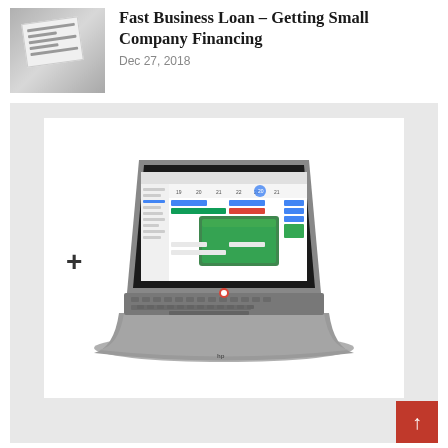[Figure (photo): Thumbnail image of a small business loan application form with a pen and keyboard]
Fast Business Loan – Getting Small Company Financing
Dec 27, 2018
[Figure (photo): HP Chromebook laptop open at an angle showing a calendar application on screen with colorful tiles]